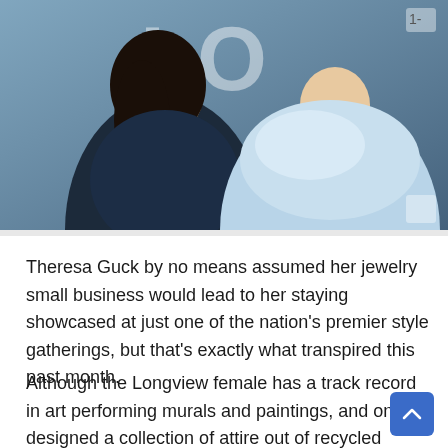[Figure (photo): Two women posing at what appears to be a fashion or entertainment event. One woman wearing a dark navy outfit with long dark hair, the other in a light blue ruffled/feathered dress. Partial text 'LO' and 'A' visible in the background signage.]
Theresa Guck by no means assumed her jewelry small business would lead to her staying showcased at just one of the nation's premier style gatherings, but that's exactly what transpired this past month.
Although the Longview female has a track record in art performing murals and paintings, and once designed a collection of attire out of recycled supplies, Guck experienced no formal teaching or expertise in jewellery layout when she started IXXIA Jewellery earlier this yr